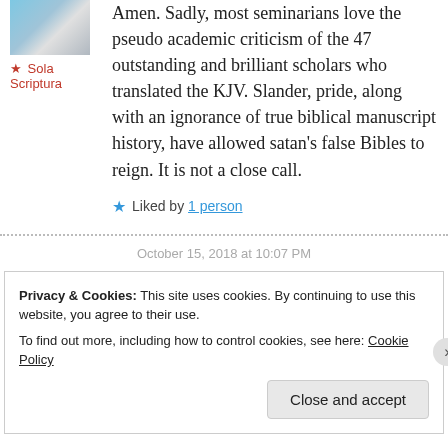[Figure (photo): Avatar photo of a person, partially visible, blue and grey tones]
★ Sola Scriptura
Amen. Sadly, most seminarians love the pseudo academic criticism of the 47 outstanding and brilliant scholars who translated the KJV. Slander, pride, along with an ignorance of true biblical manuscript history, have allowed satan's false Bibles to reign. It is not a close call.
★ Liked by 1 person
October 15, 2018 at 10:07 PM
Privacy & Cookies: This site uses cookies. By continuing to use this website, you agree to their use. To find out more, including how to control cookies, see here: Cookie Policy